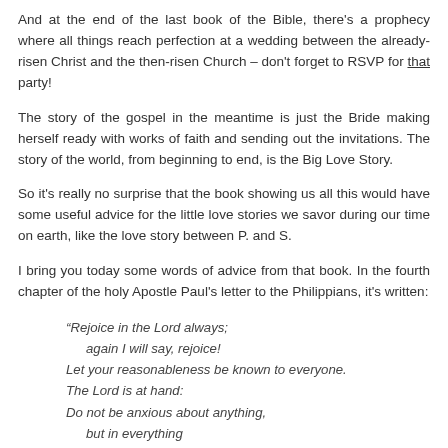And at the end of the last book of the Bible, there's a prophecy where all things reach perfection at a wedding between the already-risen Christ and the then-risen Church – don't forget to RSVP for that party!
The story of the gospel in the meantime is just the Bride making herself ready with works of faith and sending out the invitations. The story of the world, from beginning to end, is the Big Love Story.
So it's really no surprise that the book showing us all this would have some useful advice for the little love stories we savor during our time on earth, like the love story between P. and S.
I bring you today some words of advice from that book. In the fourth chapter of the holy Apostle Paul's letter to the Philippians, it's written:
“Rejoice in the Lord always;
    again I will say, rejoice!
Let your reasonableness be known to everyone.
The Lord is at hand:
Do not be anxious about anything,
    but in everything
        by prayer and supplication